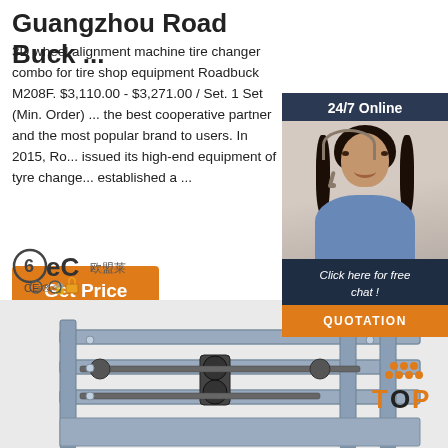Guangzhou Road Buck ...
3D wheel alignment machine tire changer combo for tire shop equipment Roadbuck M208F. $3,110.00 - $3,271.00 / Set. 1 Set (Min. Order) ... the best cooperative partner and the most popular brand to users. In 2015, Ro... issued its high-end equipment of tyre change... established a ...
[Figure (other): Orange 'Get Price' button]
[Figure (other): 24/7 Online chat widget with customer service representative photo, 'Click here for free chat!' text and orange QUOTATION button]
[Figure (logo): 6ec / BEC logo with CE certification marks]
[Figure (photo): Product photo of wheel alignment machine / tire changer equipment in grey metal]
[Figure (other): Orange TOP scroll-to-top button with dot pattern above]